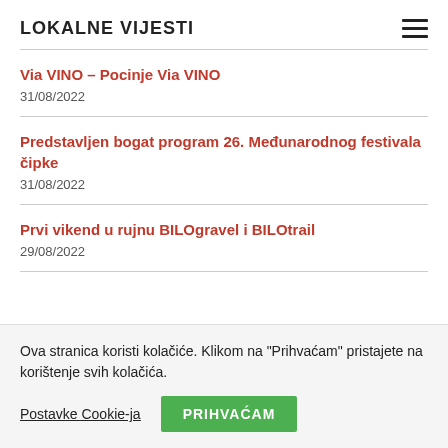LOKALNE VIJESTI
Via VINO – Pocinje Via VINO
31/08/2022
Predstavljen bogat program 26. Međunarodnog festivala čipke
31/08/2022
Prvi vikend u rujnu BILOgravel i BILOtrail
29/08/2022
Ova stranica koristi kolačiće. Klikom na "Prihvaćam" pristajete na korištenje svih kolačića.
Postavke Cookie-ja  PRIHVAĆAM